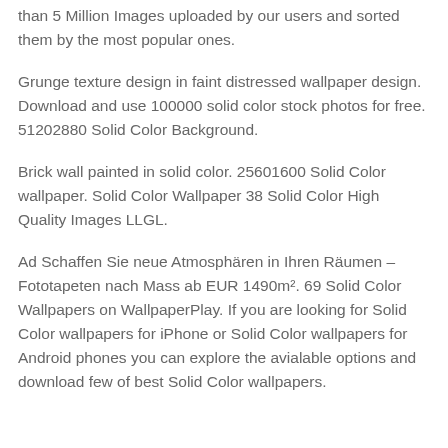than 5 Million Images uploaded by our users and sorted them by the most popular ones.
Grunge texture design in faint distressed wallpaper design. Download and use 100000 solid color stock photos for free. 51202880 Solid Color Background.
Brick wall painted in solid color. 25601600 Solid Color wallpaper. Solid Color Wallpaper 38 Solid Color High Quality Images LLGL.
Ad Schaffen Sie neue Atmosphären in Ihren Räumen – Fototapeten nach Mass ab EUR 1490m². 69 Solid Color Wallpapers on WallpaperPlay. If you are looking for Solid Color wallpapers for iPhone or Solid Color wallpapers for Android phones you can explore the avialable options and download few of best Solid Color wallpapers.